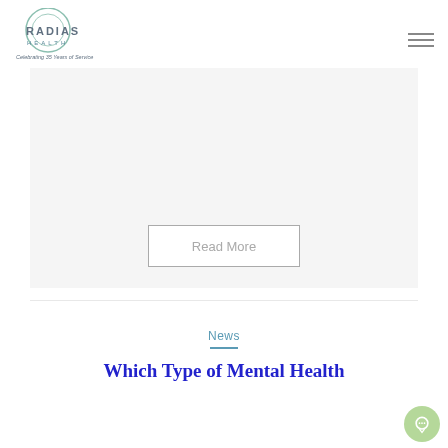[Figure (logo): Radias Health logo with circular design and text 'Celebrating 35 Years of Service']
[Figure (photo): Large image placeholder (light gray) as article hero image]
Read More
News
Which Type of Mental Health Professional Should You...